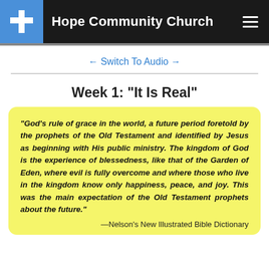Hope Community Church
← Switch To Audio →
Week 1: "It Is Real"
"God's rule of grace in the world, a future period foretold by the prophets of the Old Testament and identified by Jesus as beginning with His public ministry. The kingdom of God is the experience of blessedness, like that of the Garden of Eden, where evil is fully overcome and where those who live in the kingdom know only happiness, peace, and joy. This was the main expectation of the Old Testament prophets about the future."
—Nelson's New Illustrated Bible Dictionary